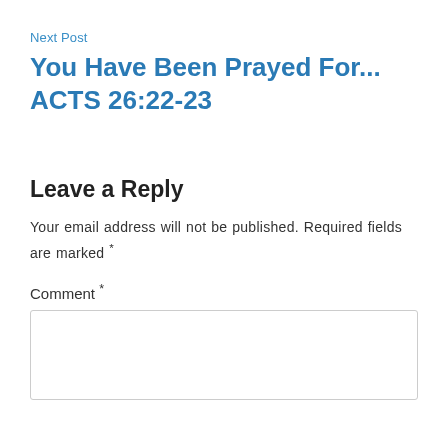Next Post
You Have Been Prayed For... ACTS 26:22-23
Leave a Reply
Your email address will not be published. Required fields are marked *
Comment *